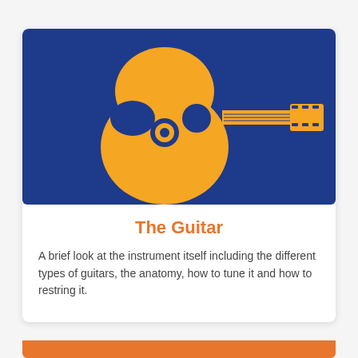[Figure (illustration): Orange acoustic guitar silhouette on a dark blue rectangular background with rounded corners]
The Guitar
A brief look at the instrument itself including the different types of guitars, the anatomy,  how to tune it and how to restring it.